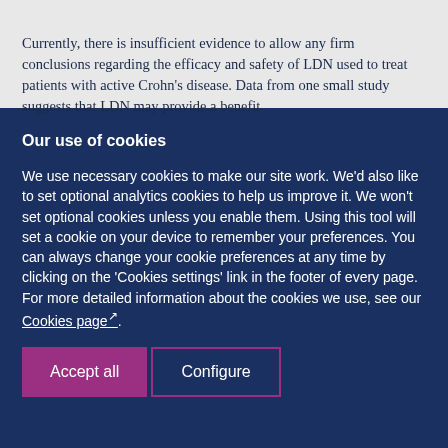Currently, there is insufficient evidence to allow any firm conclusions regarding the efficacy and safety of LDN used to treat patients with active Crohn's disease. Data from one small study suggests that LDN may provide a benefit
Our use of cookies
We use necessary cookies to make our site work. We'd also like to set optional analytics cookies to help us improve it. We won't set optional cookies unless you enable them. Using this tool will set a cookie on your device to remember your preferences. You can always change your cookie preferences at any time by clicking on the 'Cookies settings' link in the footer of every page.
For more detailed information about the cookies we use, see our Cookies page.